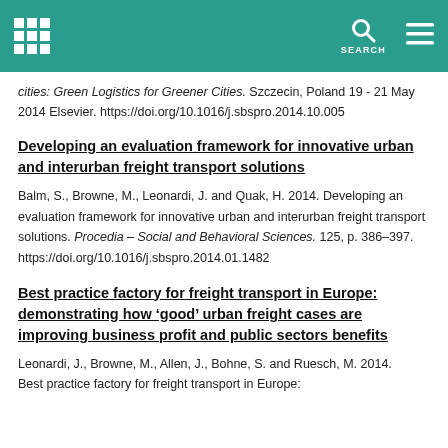[Logo] [Search] [Menu]
cities: Green Logistics for Greener Cities. Szczecin, Poland 19 - 21 May 2014 Elsevier. https://doi.org/10.1016/j.sbspro.2014.10.005
Developing an evaluation framework for innovative urban and interurban freight transport solutions
Balm, S., Browne, M., Leonardi, J. and Quak, H. 2014. Developing an evaluation framework for innovative urban and interurban freight transport solutions. Procedia - Social and Behavioral Sciences. 125, p. 386–397. https://doi.org/10.1016/j.sbspro.2014.01.1482
Best practice factory for freight transport in Europe: demonstrating how ‘good’ urban freight cases are improving business profit and public sectors benefits
Leonardi, J., Browne, M., Allen, J., Bohne, S. and Ruesch, M. 2014. Best practice factory for freight transport in Europe: